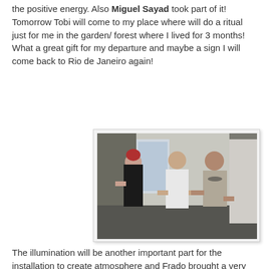the positive energy. Also Miguel Sayad took part of it! Tomorrow Tobi will come to my place where will do a ritual just for me in the garden/ forest where I lived for 3 months! What a great gift for my departure and maybe a sign I will come back to Rio de Janeiro again!
[Figure (photo): Group of people holding hands in a circle indoors, appears to be a ritual or ceremony. Three people are clearly visible: a woman in a black dress, a man in a white t-shirt, and an older man in a grey shirt with a necklace. A fourth person is partially visible at the right edge.]
The illumination will be another important part for the installation to create atmosphere and Frado brought a very good lamp that we will install on the day of the opening. Lot of things to think about such how to hide the electrical cables, computer, amplifier!